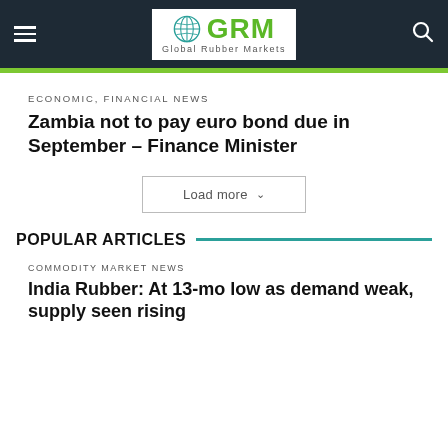GRM Global Rubber Markets
ECONOMIC, FINANCIAL NEWS
Zambia not to pay euro bond due in September – Finance Minister
Load more
POPULAR ARTICLES
COMMODITY MARKET NEWS
India Rubber: At 13-mo low as demand weak, supply seen rising